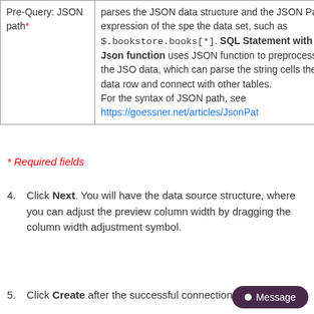| Field | Description |
| --- | --- |
| Pre-Query: JSON path* | parses the JSON data structure and the JSON Path expression of the specified data set, such as $.bookstore.books[*]. SQL Statement with Json function uses JSON function to preprocess the JSON data, which can parse the string cells of the data row and connect with other tables.
For the syntax of JSON path, see https://goessner.net/articles/JsonPat |
* Required fields
4. Click Next. You will have the data source structure, where you can adjust the preview column width by dragging the column width adjustment symbol.
5. Click Create after the successful connection